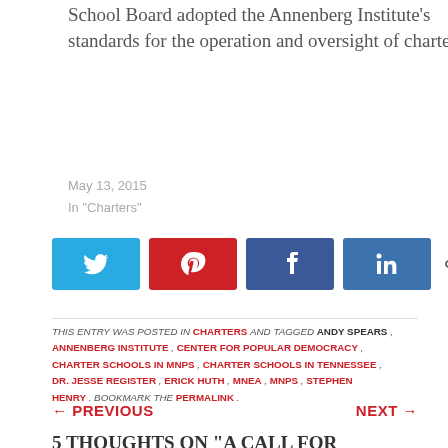School Board adopted the Annenberg Institute's standards for the operation and oversight of charter
May 13, 2015
In "Charters"
[Figure (other): Social sharing buttons: Twitter (blue), Pinterest (red), Facebook (blue), LinkedIn (dark blue), and share count showing 0 SHARES]
THIS ENTRY WAS POSTED IN CHARTERS AND TAGGED ANDY SPEARS , ANNENBERG INSTITUTE , CENTER FOR POPULAR DEMOCRACY , CHARTER SCHOOLS IN MNPS , CHARTER SCHOOLS IN TENNESSEE , DR. JESSE REGISTER , ERICK HUTH , MNEA , MNPS , STEPHEN HENRY . BOOKMARK THE PERMALINK .
← PREVIOUS
NEXT →
5 THOUGHTS ON "A CALL FOR